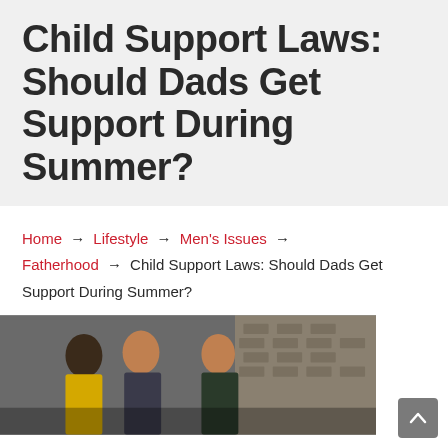Child Support Laws: Should Dads Get Support During Summer?
Home → Lifestyle → Men's Issues → Fatherhood → Child Support Laws: Should Dads Get Support During Summer?
[Figure (photo): Two men being escorted or detained, with a third person partially visible, outdoors near a building]